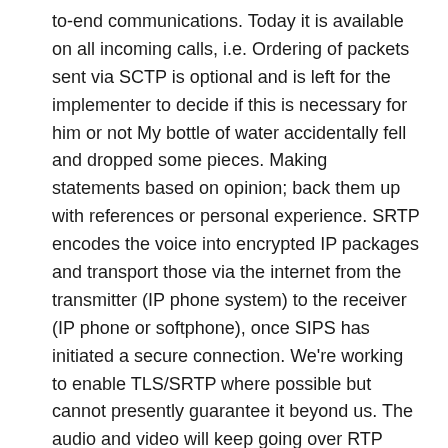to-end communications. Today it is available on all incoming calls, i.e. Ordering of packets sent via SCTP is optional and is left for the implementer to decide if this is necessary for him or not My bottle of water accidentally fell and dropped some pieces. Making statements based on opinion; back them up with references or personal experience. SRTP encodes the voice into encrypted IP packages and transport those via the internet from the transmitter (IP phone system) to the receiver (IP phone or softphone), once SIPS has initiated a secure connection. We're working to enable TLS/SRTP where possible but cannot presently guarantee it beyond us. The audio and video will keep going over RTP (actually SRTP which is the secure version or RTP) but the data channel will uses SCTP over DTLS over UDP. Vendors will be able to advise on the preliminary steps to take to first enable it on your equipment. Optional ordering. It is an IETF standard (RFC 4960). Any additional info would be